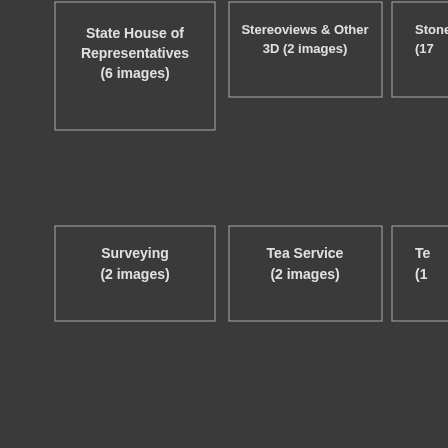[Figure (organizational-chart): Partial organizational chart / category browser showing labeled boxes on a dark gray background. Top row shows 'State House of Representatives (6 images)', 'Stereoviews & Other 3D (2 images)', and a partially visible 'Stone (17...)' box. Bottom row shows 'Surveying (2 images)', 'Tea Service (2 images)', and a partially visible 'Te (1...)' box.]